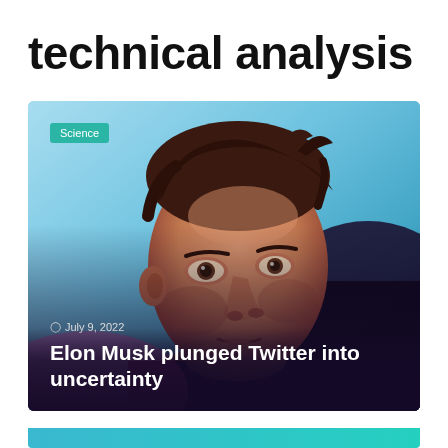technical analysis
[Figure (photo): Close-up photo of Elon Musk against a blue background, with a 'Science' badge overlay, date 'July 9, 2022', and headline 'Elon Musk plunged Twitter into uncertainty' overlaid at the bottom]
Elon Musk plunged Twitter into uncertainty